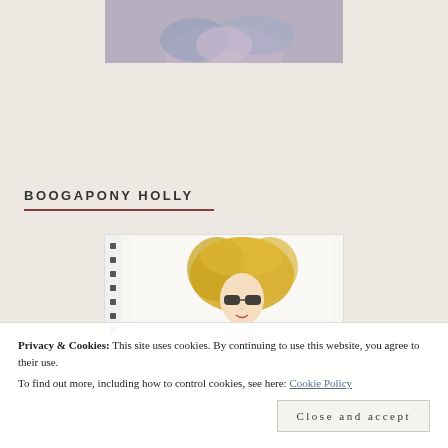[Figure (photo): Partial top of page showing a photo of an object with blue and purple colors on sandy/grey background, cropped at top]
BOOGAPONY HOLLY
[Figure (illustration): Sketch in a spiral notebook showing a woman with large blonde hair wearing sunglasses, drawn in pen/marker style]
Privacy & Cookies: This site uses cookies. By continuing to use this website, you agree to their use.
To find out more, including how to control cookies, see here: Cookie Policy
Close and accept